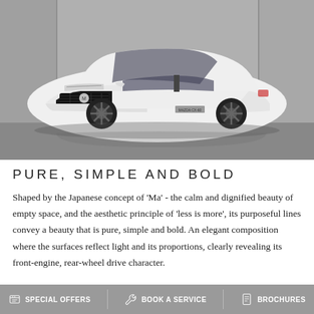[Figure (photo): White Mazda CX-60 SUV parked in front of a concrete wall, shot from front-quarter angle, showing the front grille, headlights, and the Mazda badge. The car is white and reflective surface floor visible.]
PURE, SIMPLE AND BOLD
Shaped by the Japanese concept of 'Ma' - the calm and dignified beauty of empty space, and the aesthetic principle of 'less is more', its purposeful lines convey a beauty that is pure, simple and bold. An elegant composition where the surfaces reflect light and its proportions, clearly revealing its front-engine, rear-wheel drive character.
SPECIAL OFFERS   BOOK A SERVICE   BROCHURES